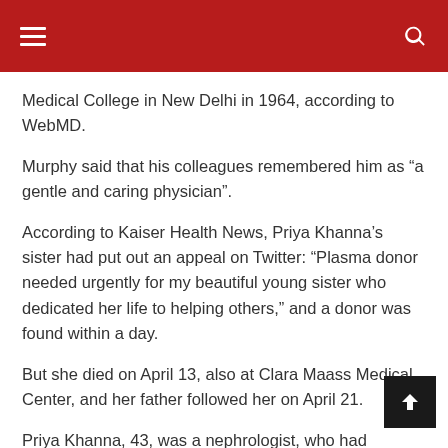≡  [hamburger menu]  [search icon]
Medical College in New Delhi in 1964, according to WebMD.
Murphy said that his colleagues remembered him as “a gentle and caring physician”.
According to Kaiser Health News, Priya Khanna’s sister had put out an appeal on Twitter: "Plasma donor needed urgently for my beautiful young sister who dedicated her life to helping others," and a donor was found within a day.
But she died on April 13, also at Clara Maass Medical Center, and her father followed her on April 21.
Priya Khanna, 43, was a nephrologist, who had received her medical degree from Kansas City School of Medicine in 2003.